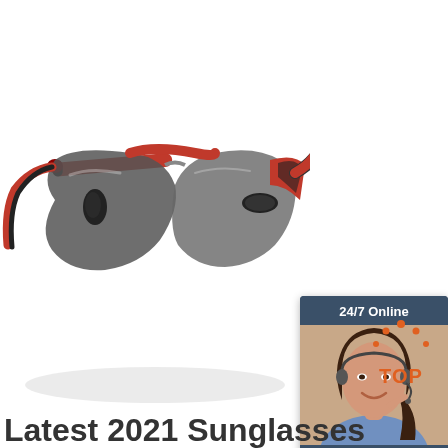[Figure (photo): Sports sunglasses with red and black frame, grey tinted lenses, positioned on white background]
[Figure (infographic): 24/7 Online chat widget showing a woman with headset smiling, with text 'Click here for free chat!' and orange QUOTATION button]
[Figure (illustration): Orange 'TOP' button with dots forming an arch above the text]
Latest 2021 Sunglasses